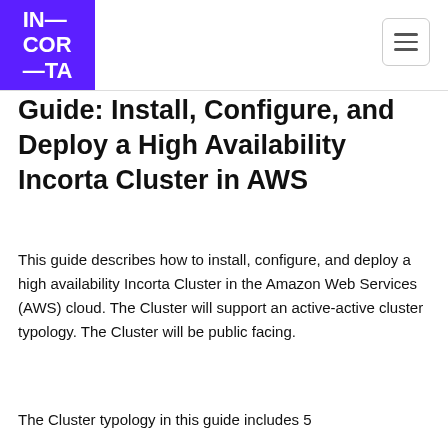IN—
COR—
—TA
Guide: Install, Configure, and Deploy a High Availability Incorta Cluster in AWS
This guide describes how to install, configure, and deploy a high availability Incorta Cluster in the Amazon Web Services (AWS) cloud. The Cluster will support an active-active cluster typology. The Cluster will be public facing.
The Cluster typology in this guide includes 5